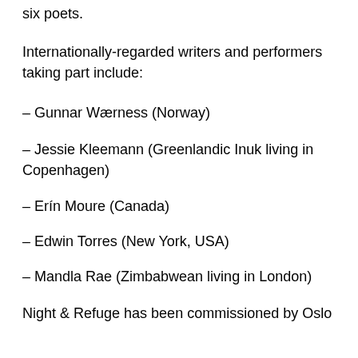six poets.
Internationally-regarded writers and performers taking part include:
– Gunnar Wærness (Norway)
– Jessie Kleemann (Greenlandic Inuk living in Copenhagen)
– Erín Moure (Canada)
– Edwin Torres (New York, USA)
– Mandla Rae (Zimbabwean living in London)
Night & Refuge has been commissioned by Oslo